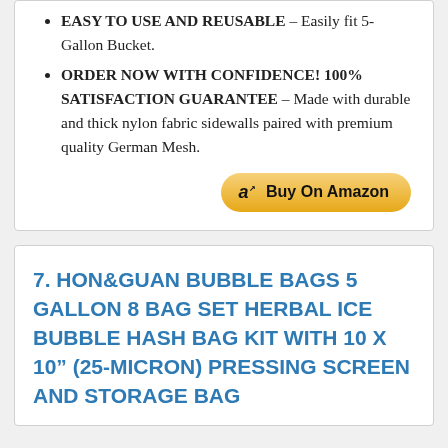EASY TO USE AND REUSABLE – Easily fit 5-Gallon Bucket.
ORDER NOW WITH CONFIDENCE! 100% SATISFACTION GUARANTEE – Made with durable and thick nylon fabric sidewalls paired with premium quality German Mesh.
[Figure (other): Buy On Amazon button with Amazon logo]
7. HON&GUAN BUBBLE BAGS 5 GALLON 8 BAG SET HERBAL ICE BUBBLE HASH BAG KIT WITH 10 X 10" (25-MICRON) PRESSING SCREEN AND STORAGE BAG